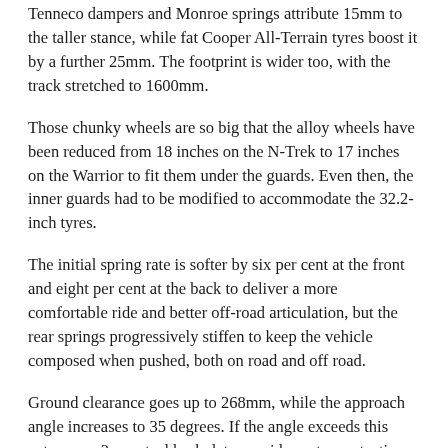Tenneco dampers and Monroe springs attribute 15mm to the taller stance, while fat Cooper All-Terrain tyres boost it by a further 25mm. The footprint is wider too, with the track stretched to 1600mm.
Those chunky wheels are so big that the alloy wheels have been reduced from 18 inches on the N-Trek to 17 inches on the Warrior to fit them under the guards. Even then, the inner guards had to be modified to accommodate the 32.2-inch tyres.
The initial spring rate is softer by six per cent at the front and eight per cent at the back to deliver a more comfortable ride and better off-road articulation, but the rear springs progressively stiffen to keep the vehicle composed when pushed, both on road and off road.
Ground clearance goes up to 268mm, while the approach angle increases to 35 degrees. If the angle exceeds this extreme, a 3mm steel bashplate provides extra protection.
Premcar engineers tested the chassis on the sand and gravel tracks of the Big Desert between Ouyen, in north-western Victoria, and